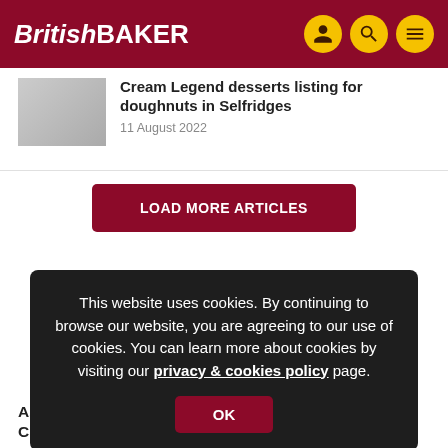British Baker
Cream Legend desserts listing for doughnuts in Selfridges
11 August 2022
LOAD MORE ARTICLES
This website uses cookies. By continuing to browse our website, you are agreeing to our use of cookies. You can learn more about cookies by visiting our privacy & cookies policy page.
OK
Asda unveils dessert and party food for Christmas 2022